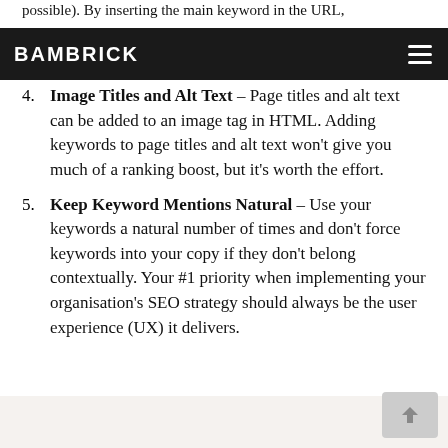BAMBRICK
possible). By inserting the main keyword in the URL, You help searches what the page is about and can really boost Click Through Rates (CTR).
4. Image Titles and Alt Text – Page titles and alt text can be added to an image tag in HTML. Adding keywords to page titles and alt text won't give you much of a ranking boost, but it's worth the effort.
5. Keep Keyword Mentions Natural – Use your keywords a natural number of times and don't force keywords into your copy if they don't belong contextually. Your #1 priority when implementing your organisation's SEO strategy should always be the user experience (UX) it delivers.